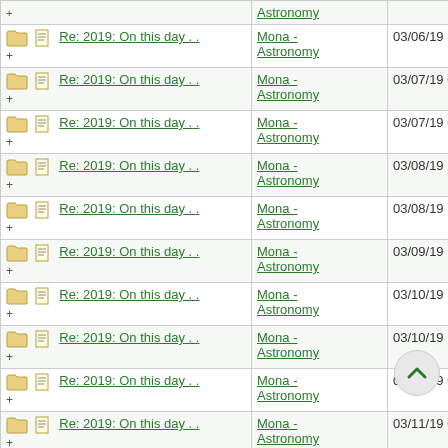| Thread | Forum | Date |
| --- | --- | --- |
| Re: 2019: On this day . . | Mona - Astronomy | 03/06/19 10:35 AM |
| Re: 2019: On this day . . | Mona - Astronomy | 03/07/19 09:53 PM |
| Re: 2019: On this day . . | Mona - Astronomy | 03/07/19 09:56 PM |
| Re: 2019: On this day . . | Mona - Astronomy | 03/08/19 10:09 AM |
| Re: 2019: On this day . . | Mona - Astronomy | 03/08/19 10:26 AM |
| Re: 2019: On this day . . | Mona - Astronomy | 03/09/19 10:41 AM |
| Re: 2019: On this day . . | Mona - Astronomy | 03/10/19 10:34 AM |
| Re: 2019: On this day . . | Mona - Astronomy | 03/10/19 10:38 AM |
| Re: 2019: On this day . . | Mona - Astronomy | 03/11/19 09:05 AM |
| Re: 2019: On this day . . | Mona - Astronomy | 03/11/19 09:08 AM |